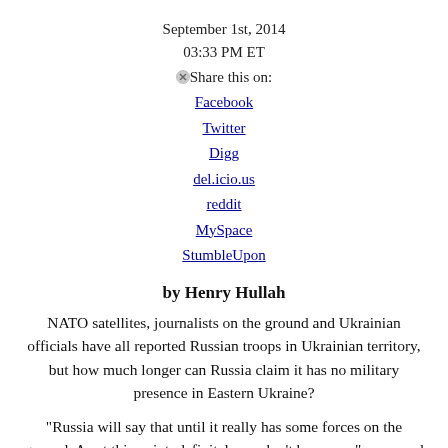September 1st, 2014
03:33 PM ET
Share this on:
Facebook
Twitter
Digg
del.icio.us
reddit
MySpace
StumbleUpon
by Henry Hullah
NATO satellites, journalists on the ground and Ukrainian officials have all reported Russian troops in Ukrainian territory, but how much longer can Russia claim it has no military presence in Eastern Ukraine?
"Russia will say that until it really has some forces on the ground. As at this point, definitely we don’t have any." answered Russian Member of Parliament Vyacheslav Nikonov.
He told Michael Holmes, sitting in for Christiane Amanpour, that